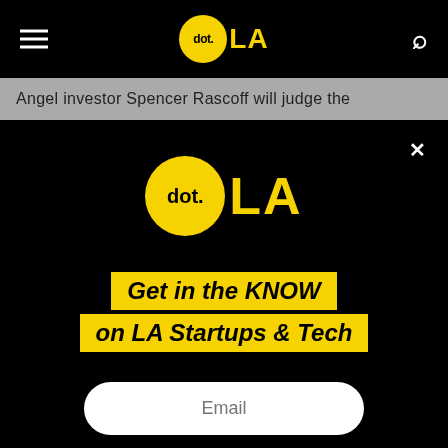[Figure (logo): dot.LA logo in navigation bar on black background — yellow circle with 'dot.' text followed by yellow 'LA' text]
Angel investor Spencer Rascoff will judge the
[Figure (logo): Large dot.LA logo centered on black background — yellow circle with 'dot.' text followed by yellow 'LA' text]
Get in the KNOW on LA Startups & Tech
Email